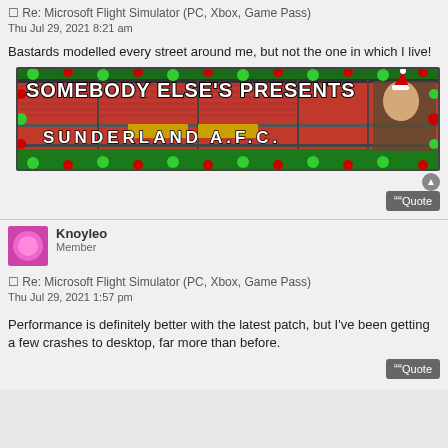Re: Microsoft Flight Simulator (PC, Xbox, Game Pass)
Thu Jul 29, 2021 8:21 am
Bastards modelled every street around me, but not the one in which I live!
[Figure (illustration): Forum signature banner showing Sunderland AFC stadium with Christmas decorations (red and green baubles), text 'SOMEBODY ELSE'S PRESENTS' at top and 'SUNDERLAND A.F.C.' on stadium seating, with a character wearing a Santa hat on the right side]
Knoyleo
Member
Re: Microsoft Flight Simulator (PC, Xbox, Game Pass)
Thu Jul 29, 2021 1:57 pm
Performance is definitely better with the latest patch, but I've been getting a few crashes to desktop, far more than before.